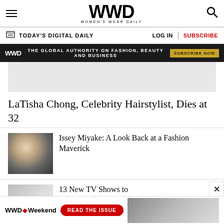WWD WOMEN'S WEAR DAILY
TODAY'S DIGITAL DAILY | LOG IN | SUBSCRIBE
[Figure (infographic): WWD banner ad: THE GLOBAL AUTHORITY ON FASHION, BEAUTY AND BUSINESS — SUBSCRIBE NOW]
[Figure (photo): Gray advertisement placeholder area]
LaTisha Chong, Celebrity Hairstylist, Dies at 32
[Figure (photo): Black and white photo of Issey Miyake smiling in a turtleneck]
Issey Miyake: A Look Back at a Fashion Maverick
[Figure (photo): Thumbnail image for 13 New TV Shows article]
13 New TV Shows to
[Figure (infographic): WWD Weekend bottom ad banner: READ THE ISSUE]